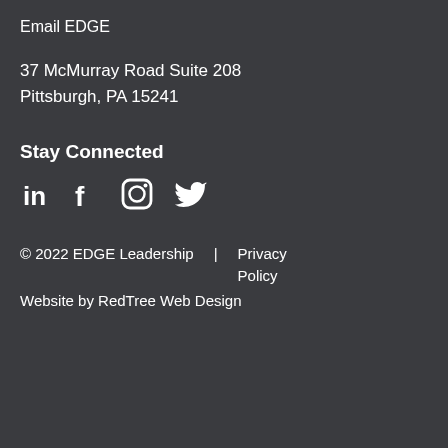Email EDGE
37 McMurray Road Suite 208
Pittsburgh, PA 15241
Stay Connected
[Figure (illustration): Social media icons: LinkedIn, Facebook, Instagram, Twitter]
© 2022 EDGE Leadership | Privacy Policy
Website by RedTree Web Design